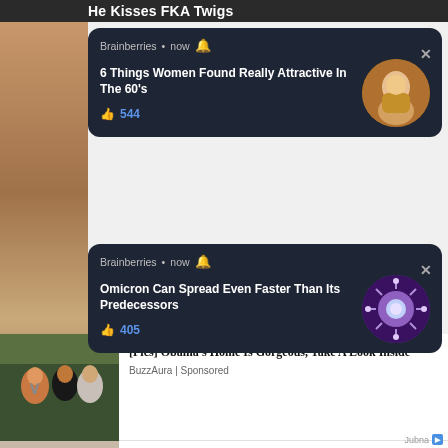He Kisses FKA Twigs
[Figure (screenshot): Brainberries notification card: '6 Things Women Found Really Attractive In The 60's' with 544 likes and a circular photo of a man with a decorative beard]
[Figure (screenshot): Brainberries notification card: 'Omicron Can Spread Even Faster Than Its Predecessors' with 405 likes and a circular image of a coronavirus]
[Figure (photo): Photo of Obama family group]
[Pics] Obama's Home Is Gorgeous, Take A Look Inside
BuzzAura | Sponsored
[Figure (photo): Photo of a woman in white]
Hepatitis C - Common Signs & Symptoms
Hepatitis C | Search Ads | Sponsored